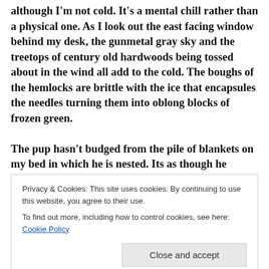against the windows brings a chill to my body although I'm not cold. It's a mental chill rather than a physical one. As I look out the east facing window behind my desk, the gunmetal gray sky and the treetops of century old hardwoods being tossed about in the wind all add to the cold. The boughs of the hemlocks are brittle with the ice that encapsules the needles turning them into oblong blocks of frozen green.
The pup hasn't budged from the pile of blankets on my bed in which he is nested. Its as though he knows
Privacy & Cookies: This site uses cookies. By continuing to use this website, you agree to their use.
To find out more, including how to control cookies, see here: Cookie Policy
this week when silence engulfed the world so large